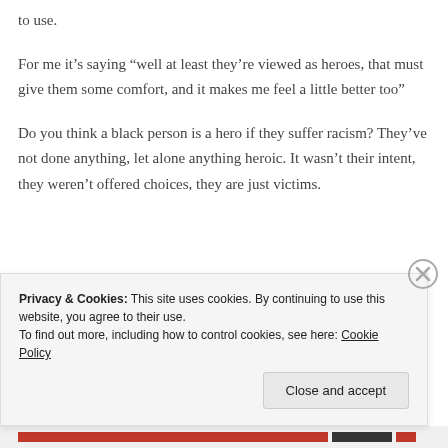to use.
For me it’s saying “well at least they’re viewed as heroes, that must give them some comfort, and it makes me feel a little better too”
Do you think a black person is a hero if they suffer racism? They’ve not done anything, let alone anything heroic. It wasn’t their intent, they weren’t offered choices, they are just victims.
Privacy & Cookies: This site uses cookies. By continuing to use this website, you agree to their use.
To find out more, including how to control cookies, see here: Cookie Policy
Close and accept